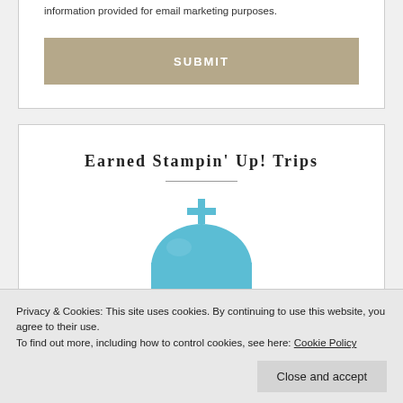information provided for email marketing purposes.
SUBMIT
Earned Stampin' Up! Trips
[Figure (illustration): Blue dome of a Greek-style building with a cross on top and arched windows below]
Privacy & Cookies: This site uses cookies. By continuing to use this website, you agree to their use.
To find out more, including how to control cookies, see here: Cookie Policy
Close and accept